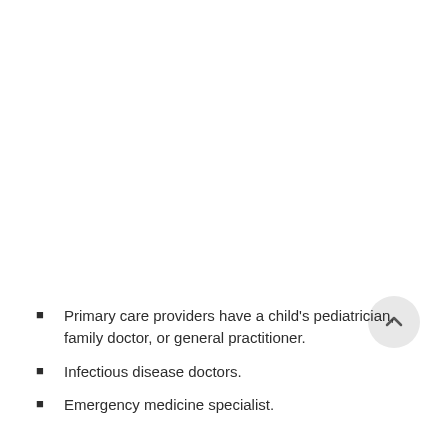Primary care providers have a child's pediatrician, family doctor, or general practitioner.
Infectious disease doctors.
Emergency medicine specialist.